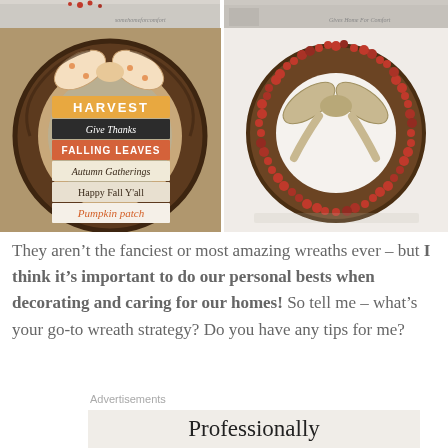[Figure (photo): Top-left: partial view of a white door with red berries decoration, watermark 'somehomeforcomfort']
[Figure (photo): Top-right: partial view of a home entrance with decoration, watermark 'Gives Home For Comfort']
[Figure (photo): Bottom-left: A harvest-themed grapevine wreath with a patterned bow and stacked wooden signs reading HARVEST, Give Thanks, FALLING LEAVES, Autumn Gatherings, Happy Fall Y'all, Pumpkin patch]
[Figure (photo): Bottom-right: A circular grapevine wreath covered in bright red berries with a burlap/ribbon bow, displayed against a white door]
They aren't the fanciest or most amazing wreaths ever – but I think it's important to do our personal bests when decorating and caring for our homes! So tell me – what's your go-to wreath strategy? Do you have any tips for me?
Advertisements
Professionally